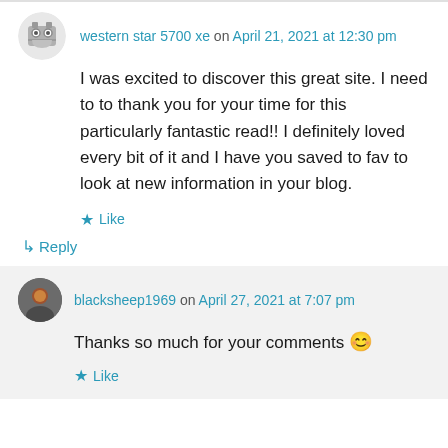western star 5700 xe on April 21, 2021 at 12:30 pm
I was excited to discover this great site. I need to to thank you for your time for this particularly fantastic read!! I definitely loved every bit of it and I have you saved to fav to look at new information in your blog.
★ Like
↳ Reply
blacksheep1969 on April 27, 2021 at 7:07 pm
Thanks so much for your comments 😊
★ Like